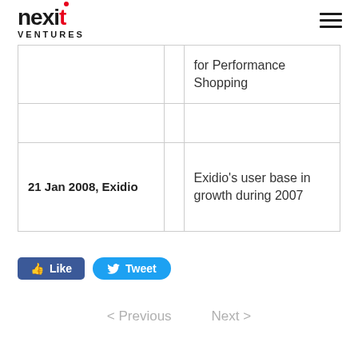nexit VENTURES
|  |  | for Performance Shopping |
|  |  |  |
| 21 Jan 2008, Exidio |  | Exidio’s user base in growth during 2007 |
Like   Tweet
< Previous   Next >